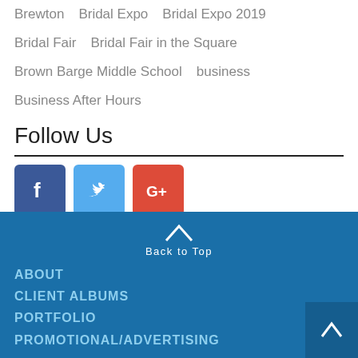Brewton   Bridal Expo   Bridal Expo 2019
Bridal Fair   Bridal Fair in the Square
Brown Barge Middle School   business
Business After Hours
Follow Us
[Figure (logo): Facebook, Twitter, and Google+ social media icon buttons]
Back to Top
ABOUT
CLIENT ALBUMS
PORTFOLIO
PROMOTIONAL/ADVERTISING